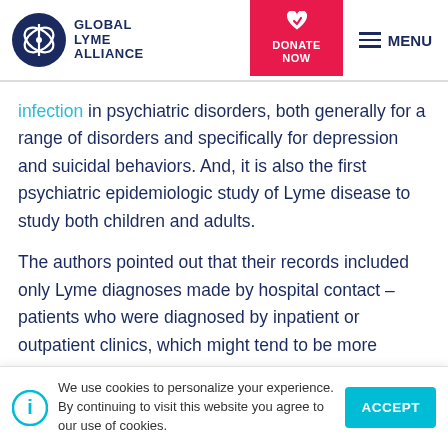Global Lyme Alliance | DONATE NOW | MENU
infection in psychiatric disorders, both generally for a range of disorders and specifically for depression and suicidal behaviors. And, it is also the first psychiatric epidemiologic study of Lyme disease to study both children and adults.
The authors pointed out that their records included only Lyme diagnoses made by hospital contact – patients who were diagnosed by inpatient or outpatient clinics, which might tend to be more severe
We use cookies to personalize your experience. By continuing to visit this website you agree to our use of cookies.